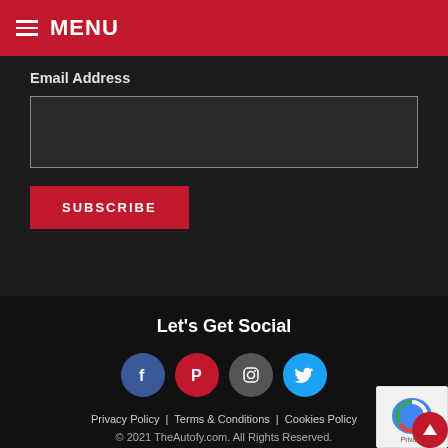≡ MENU
Email Address
SUBSCRIBE
Let's Get Social
[Figure (infographic): Four social media icon circles: Facebook (blue), Pinterest (red), Instagram (dark gray), Twitter (light blue)]
Privacy Policy | Terms & Conditions | Cookies Policy
© 2021 TheAutofy.com. All Rights Reserved.